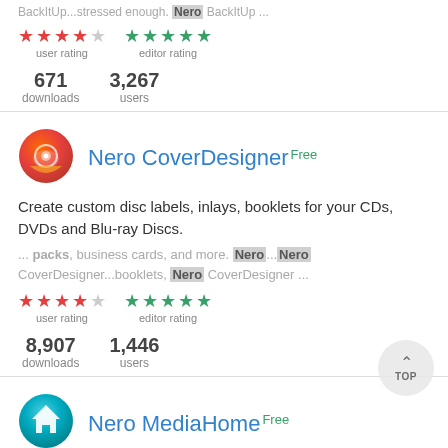BackItUp...stressed enough. Nero BackItUp ...
[Figure (other): Star ratings: 4 red stars + 1 grey (user rating), 5 green stars (editor rating)]
671 downloads   3,267 users
[Figure (logo): Nero CoverDesigner app icon - red and orange circular logo with eye/disc motif]
Nero CoverDesigner Free
Create custom disc labels, inlays, booklets for your CDs, DVDs and Blu-ray Discs.
... packs, business cards, and more. Nero...Nero CoverDesigner...booklets, Nero CoverDesigner ...
[Figure (other): Star ratings: 4 red stars + 1 grey (user rating), 5 green stars (editor rating)]
8,907 downloads   1,446 users
[Figure (logo): Nero MediaHome app icon - teal circular logo with house motif]
Nero MediaHome Free